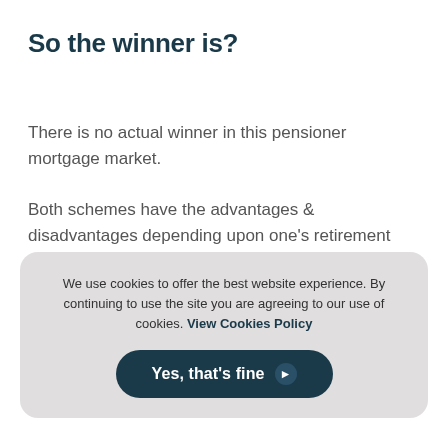So the winner is?
There is no actual winner in this pensioner mortgage market.
Both schemes have the advantages & disadvantages depending upon one's retirement finances.
However, if a good retirement & disposable income is
We use cookies to offer the best website experience. By continuing to use the site you are agreeing to our use of cookies. View Cookies Policy
Yes, that's fine